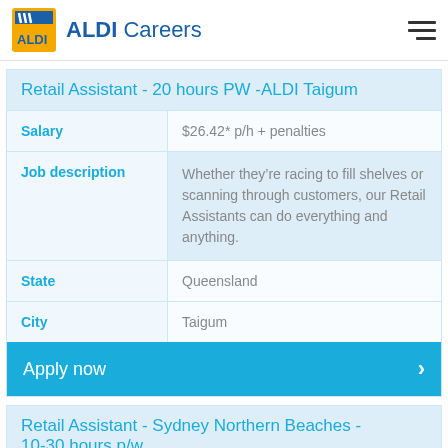ALDI Careers
Retail Assistant - 20 hours PW -ALDI Taigum
| Field | Value |
| --- | --- |
| Salary | $26.42* p/h + penalties |
| Job description | Whether they’re racing to fill shelves or scanning through customers, our Retail Assistants can do everything and anything. |
| State | Queensland |
| City | Taigum |
Apply now
Retail Assistant - Sydney Northern Beaches - 10-30 hours p/w